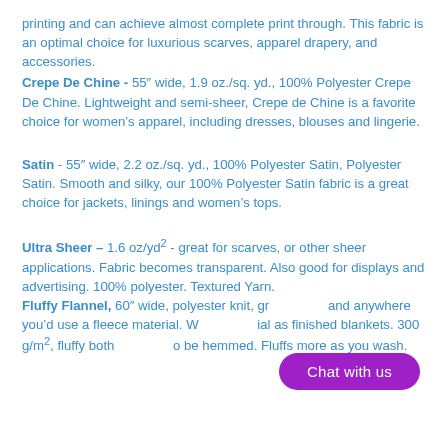printing and can achieve almost complete print through. This fabric is an optimal choice for luxurious scarves, apparel drapery, and accessories.
Crepe De Chine - 55" wide, 1.9 oz./sq. yd., 100% Polyester Crepe De Chine. Lightweight and semi-sheer, Crepe de Chine is a favorite choice for women's apparel, including dresses, blouses and lingerie.
Satin - 55" wide, 2.2 oz./sq. yd., 100% Polyester Satin, Polyester Satin. Smooth and silky, our 100% Polyester Satin fabric is a great choice for jackets, linings and women's tops.
Ultra Sheer – 1.6 oz/yd² - great for scarves, or other sheer applications. Fabric becomes transparent. Also good for displays and advertising. 100% polyester. Textured Yarn. Fluffy Flannel, 60" wide, polyester knit, gr... and anywhere you'd use a fleece material. W... ial as finished blankets. 300 g/m², fluffy both ... o be hemmed. Fluffs more as you wash.